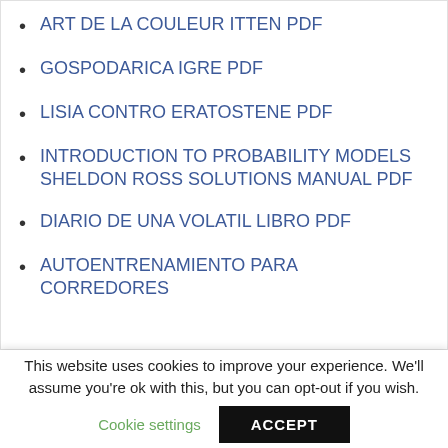ART DE LA COULEUR ITTEN PDF
GOSPODARICA IGRE PDF
LISIA CONTRO ERATOSTENE PDF
INTRODUCTION TO PROBABILITY MODELS SHELDON ROSS SOLUTIONS MANUAL PDF
DIARIO DE UNA VOLATIL LIBRO PDF
AUTOENTRENAMIENTO PARA CORREDORES
This website uses cookies to improve your experience. We'll assume you're ok with this, but you can opt-out if you wish.
Cookie settings
ACCEPT